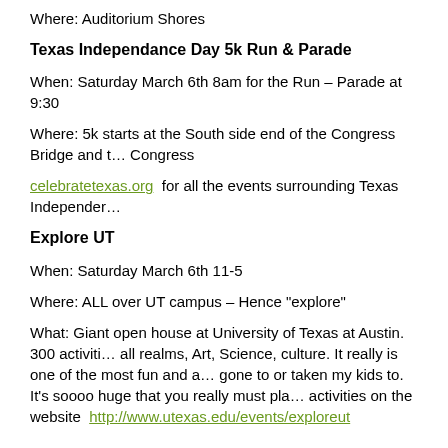Where: Auditorium Shores
Texas Independance Day 5k Run & Parade
When: Saturday March 6th 8am for the Run – Parade at 9:30
Where: 5k starts at the South side end of the Congress Bridge and t… Congress
celebratetexas.org  for all the events surrounding Texas Independer…
Explore UT
When: Saturday March 6th 11-5
Where: ALL over UT campus – Hence "explore"
What: Giant open house at University of Texas at Austin. 300 activiti… all realms, Art, Science, culture. It really is one of the most fun and a… gone to or taken my kids to. It's soooo huge that you really must pla… activities on the website  http://www.utexas.edu/events/exploreut